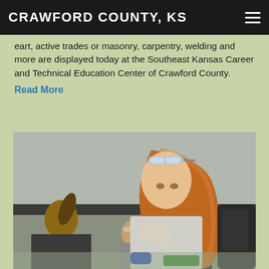CRAWFORD COUNTY, KS
...active trades or masonry, carpentry, welding and more are displayed today at the Southeast Kansas Career and Technical Education Center of Crawford County.
Read More
[Figure (photo): Students leaning over a workbench in a career and technical education classroom. A girl with long red hair wearing safety goggles on her head is prominently featured in the foreground, with other students visible in the background.]